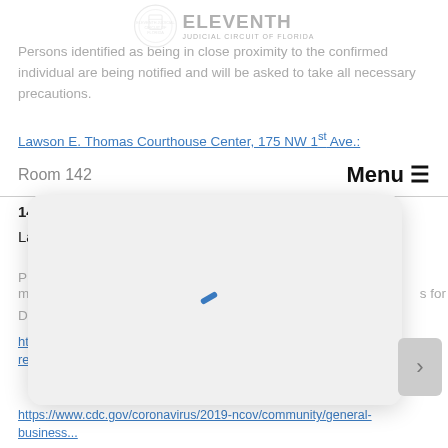ELEVENTH JUDICIAL CIRCUIT OF FLORIDA
Persons identified as being in close proximity to the confirmed individual are being notified and will be asked to take all necessary precautions.
Lawson E. Thomas Courthouse Center, 175 NW 1st Ave.:
Room 142
Menu
14th Floor Clerk's Office Front Counter Area
Last date worked: March 29, 2021
Please make sure to monitor yourself for symptoms for Disease...
https://www.cdc.gov/coronavirus/2019-ncov/community/general-business...
https://www.cdc.gov/coronavirus/2019-ncov/community/general-business